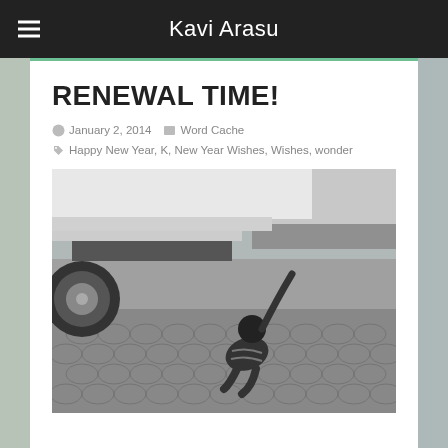Kavi Arasu
RENEWAL TIME!
January 2, 2014   Word Cache   Happy New Year, K, New Year Wishes, Wishes, wonder
[Figure (photo): Black and white photo of a small child crouching on a cobblestone pavement, reaching up with one hand toward the underside of a large white truck or vehicle. The background shows a waterside scene.]